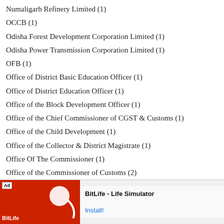Numaligarh Refinery Limited (1)
OCCB (1)
Odisha Forest Development Corporation Limited (1)
Odisha Power Transmission Corporation Limited (1)
OFB (1)
Office of District Basic Education Officer (1)
Office of District Education Officer (1)
Office of the Block Development Officer (1)
Office of the Chief Commissioner of CGST & Customs (1)
Office of the Child Development (1)
Office of the Collector & District Magistrate (1)
Office Of The Commissioner (1)
Office of the Commissioner of Customs (2)
Office o[truncated]
Office o[truncated]